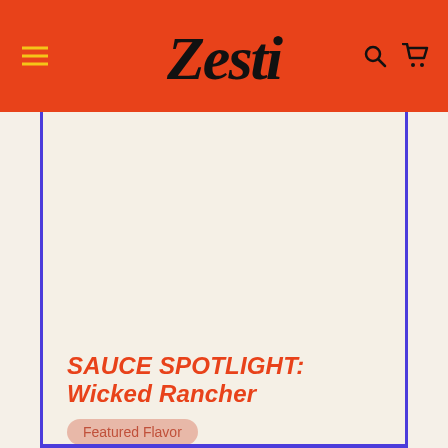Zesti
SAUCE SPOTLIGHT: Wicked Rancher
Featured Flavor
March 04, 2022 | 3 min read